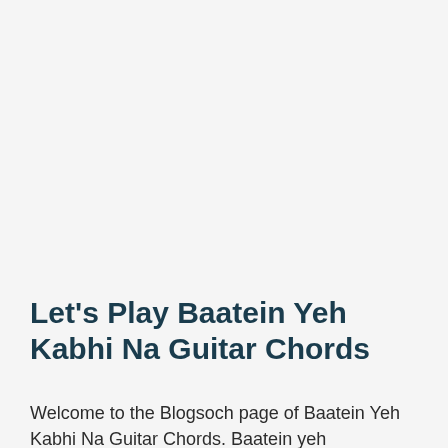Let's Play Baatein Yeh Kabhi Na Guitar Chords
Welcome to the Blogsoch page of Baatein Yeh Kabhi Na Guitar Chords. Baatein yeh